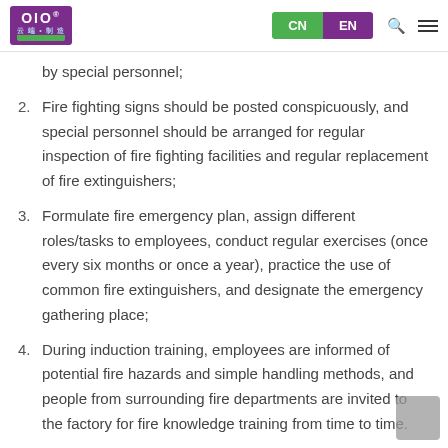OIO | CN | EN
by special personnel;
2. Fire fighting signs should be posted conspicuously, and special personnel should be arranged for regular inspection of fire fighting facilities and regular replacement of fire extinguishers;
3. Formulate fire emergency plan, assign different roles/tasks to employees, conduct regular exercises (once every six months or once a year), practice the use of common fire extinguishers, and designate the emergency gathering place;
4. During induction training, employees are informed of potential fire hazards and simple handling methods, and people from surrounding fire departments are invited to the factory for fire knowledge training from time to time.